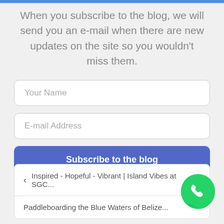When you subscribe to the blog, we will send you an e-mail when there are new updates on the site so you wouldn't miss them.
Your Name
E-mail Address
Subscribe to the blog
Inspired - Hopeful - Vibrant | Island Vibes at SGC...
Paddleboarding the Blue Waters of Belize...
[Figure (logo): WhatsApp circular green logo icon]